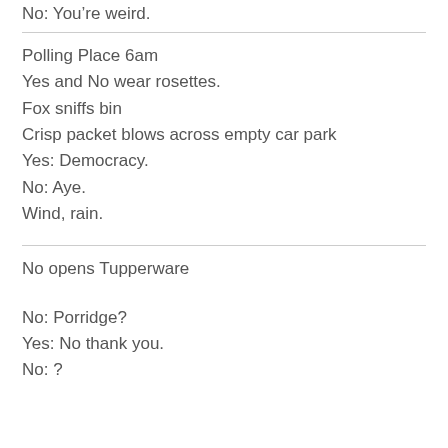No: You’re weird.
Polling Place 6am
Yes and No wear rosettes.
Fox sniffs bin
Crisp packet blows across empty car park
Yes: Democracy.
No: Aye.
Wind, rain.
No opens Tupperware
No: Porridge?
Yes: No thank you.
No: ?